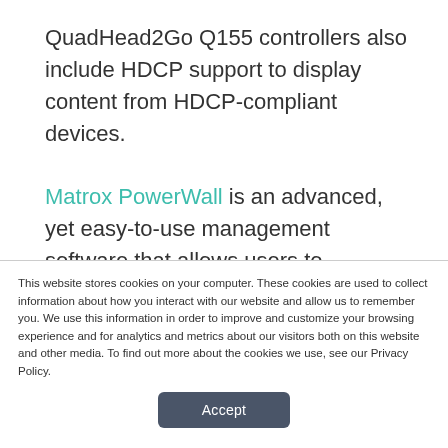QuadHead2Go Q155 controllers also include HDCP support to display content from HDCP-compliant devices.

Matrox PowerWall is an advanced, yet easy-to-use management software that allows users to customize configurations and control the display outputs independently, in either offline or online mode. The Matrox QuadHead2Go REST API is also
This website stores cookies on your computer. These cookies are used to collect information about how you interact with our website and allow us to remember you. We use this information in order to improve and customize your browsing experience and for analytics and metrics about our visitors both on this website and other media. To find out more about the cookies we use, see our Privacy Policy.